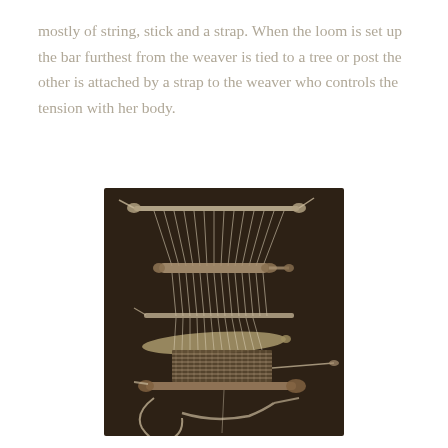mostly of string, stick and a strap. When the loom is set up the bar furthest from the weaver is tied to a tree or post the other is attached by a strap to the weaver who controls the tension with her body.
[Figure (illustration): A detailed sepia-toned illustration on a dark brown background showing the components of a backstrap loom: multiple horizontal bars/sticks, warp threads running vertically, a woven section, a shuttle, and a strap at the bottom, all rendered in white/cream line art.]